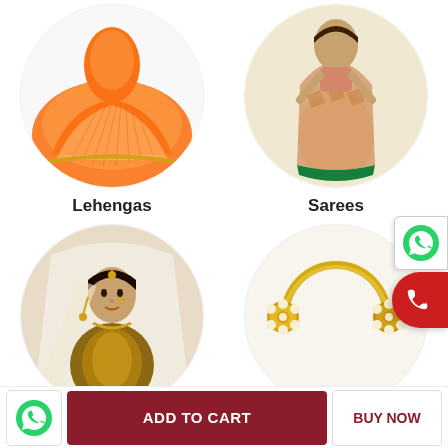[Figure (photo): Circular image of an orange lehenga garment]
Lehengas
[Figure (photo): Circular image of a woman wearing a colorful saree]
Sarees
[Figure (photo): Circular image of a bride in gold bridal attire with jewelry]
Bridal Special
[Figure (photo): Circular image of a gold bangle/bracelet with floral embellishments]
women's wear decor
[Figure (illustration): Scallop/wave decorative border row]
[Figure (logo): Floating WhatsApp green icon button]
[Figure (logo): Floating red phone call button]
[Figure (logo): WhatsApp icon in bottom bar]
ADD TO CART
BUY NOW